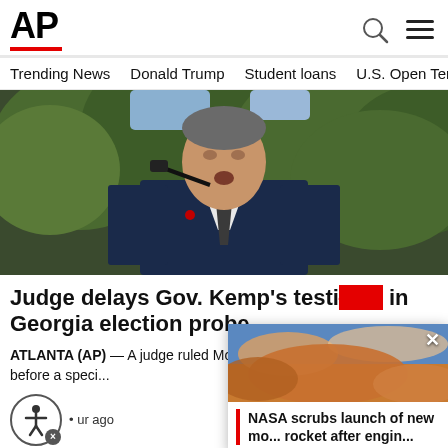AP
Trending News  Donald Trump  Student loans  U.S. Open Tenn
[Figure (photo): Man in dark suit and tie speaking at a microphone outdoors, trees in background]
Judge delays Gov. Kemp's testimony in Georgia election probe
ATLANTA (AP) — A judge ruled Mon... Brian Kemp must testify before a speci...
[Figure (photo): Popup card showing a sky/clouds image with headline: NASA scrubs launch of new mo... rocket after engin...]